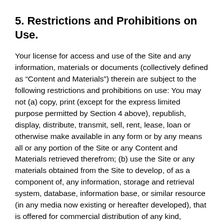5. Restrictions and Prohibitions on Use.
Your license for access and use of the Site and any information, materials or documents (collectively defined as “Content and Materials”) therein are subject to the following restrictions and prohibitions on use: You may not (a) copy, print (except for the express limited purpose permitted by Section 4 above), republish, display, distribute, transmit, sell, rent, lease, loan or otherwise make available in any form or by any means all or any portion of the Site or any Content and Materials retrieved therefrom; (b) use the Site or any materials obtained from the Site to develop, of as a component of, any information, storage and retrieval system, database, information base, or similar resource (in any media now existing or hereafter developed), that is offered for commercial distribution of any kind, including through sale, license, lease, rental,